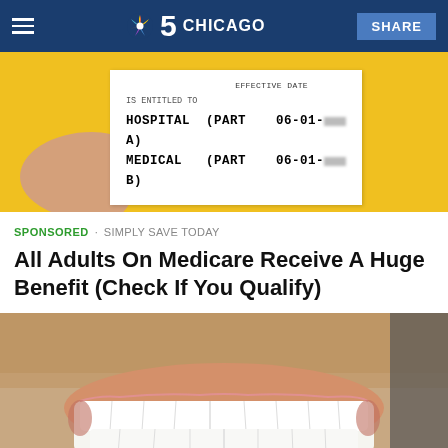NBC 5 Chicago — SHARE
[Figure (photo): Hand holding a Medicare insurance card against a yellow background. Card shows 'IS ENTITLED TO', 'HOSPITAL (PART A)', 'MEDICAL (PART B)', 'EFFECTIVE DATE 06-01-' with dates blurred.]
SPONSORED · SIMPLY SAVE TODAY
All Adults On Medicare Receive A Huge Benefit (Check If You Qualify)
[Figure (photo): Close-up photo of a man's smiling mouth showing bright white teeth, with beard stubble visible.]